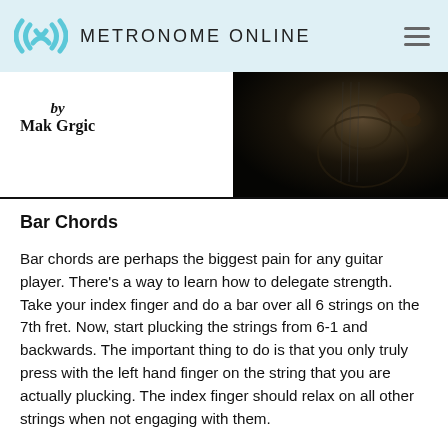METRONOME ONLINE
[Figure (photo): Dark photograph of a guitar being played, hand visible on the frets, very low-key lighting on a dark background]
by
Mak Grgic
Bar Chords
Bar chords are perhaps the biggest pain for any guitar player. There’s a way to learn how to delegate strength. Take your index finger and do a bar over all 6 strings on the 7th fret. Now, start plucking the strings from 6-1 and backwards. The important thing to do is that you only truly press with the left hand finger on the string that you are actually plucking. The index finger should relax on all other strings when not engaging with them.